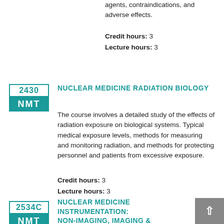agents, contraindications, and adverse effects.
Credit hours: 3
Lecture hours: 3
2430 NMT NUCLEAR MEDICINE RADIATION BIOLOGY
The course involves a detailed study of the effects of radiation exposure on biological systems. Typical medical exposure levels, methods for measuring and monitoring radiation, and methods for protecting personnel and patients from excessive exposure.
Credit hours: 3
Lecture hours: 3
2534C NMT NUCLEAR MEDICINE INSTRUMENTATION: NON-IMAGING, IMAGING & COMPUTERS